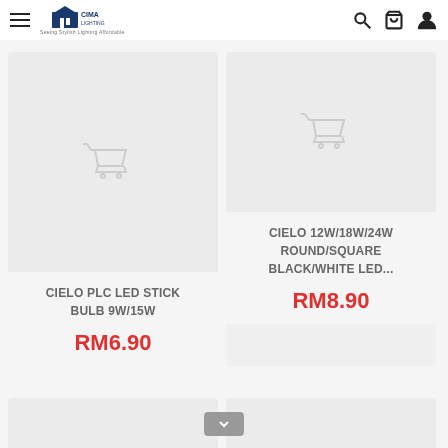[Figure (logo): Cima Lighting logo with stylized house/light icon and tagline text]
[Figure (screenshot): Product card: CIELO PLC LED STICK BULB 9W/15W, price RM6.90, placeholder image with cart icon]
[Figure (screenshot): Product card: CIELO 12W/18W/24W ROUND/SQUARE BLACK/WHITE LED..., price RM8.90, placeholder image with cart icon]
[Figure (screenshot): Partial product cards at bottom of page, scroll indicator button visible]